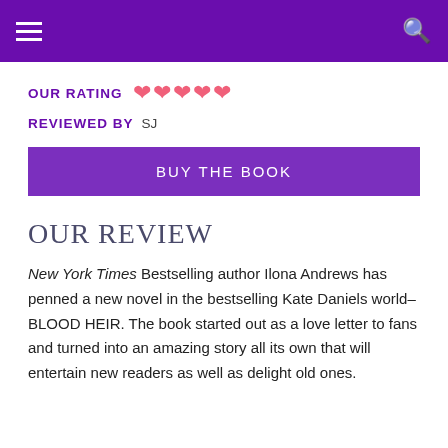≡  🔍
OUR RATING  ♥ ♥ ♥ ♥ ♥
REVIEWED BY  SJ
BUY THE BOOK
OUR REVIEW
New York Times Bestselling author Ilona Andrews has penned a new novel in the bestselling Kate Daniels world–BLOOD HEIR. The book started out as a love letter to fans and turned into an amazing story all its own that will entertain new readers as well as delight old ones.